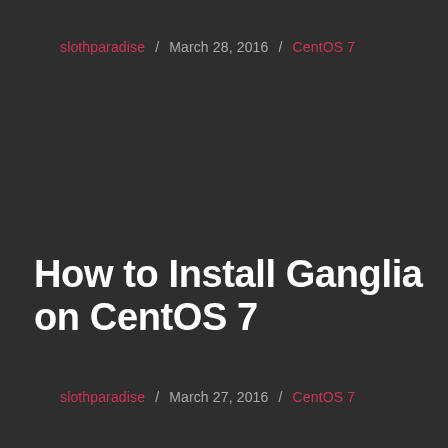slothparadise / March 28, 2016 / CentOS 7
How to Install Ganglia on CentOS 7
slothparadise / March 27, 2016 / CentOS 7